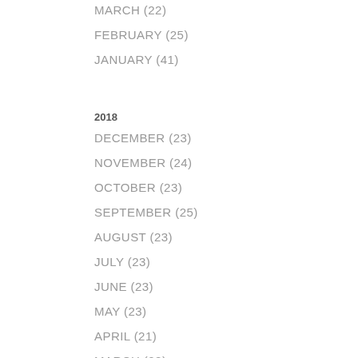MARCH (22)
FEBRUARY (25)
JANUARY (41)
2018
DECEMBER (23)
NOVEMBER (24)
OCTOBER (23)
SEPTEMBER (25)
AUGUST (23)
JULY (23)
JUNE (23)
MAY (23)
APRIL (21)
MARCH (28)